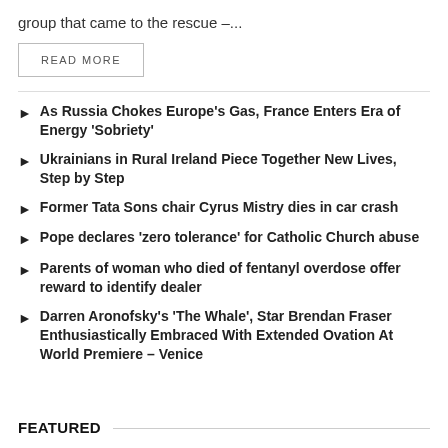group that came to the rescue –...
READ MORE
As Russia Chokes Europe's Gas, France Enters Era of Energy 'Sobriety'
Ukrainians in Rural Ireland Piece Together New Lives, Step by Step
Former Tata Sons chair Cyrus Mistry dies in car crash
Pope declares 'zero tolerance' for Catholic Church abuse
Parents of woman who died of fentanyl overdose offer reward to identify dealer
Darren Aronofsky's 'The Whale', Star Brendan Fraser Enthusiastically Embraced With Extended Ovation At World Premiere – Venice
FEATURED